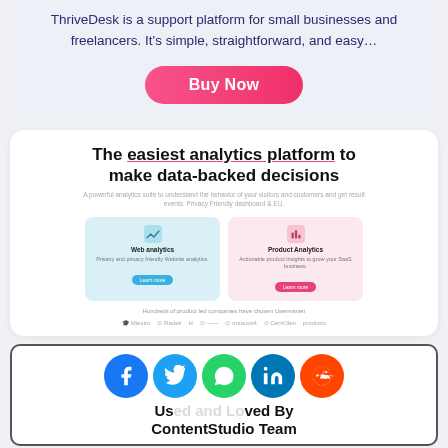ThriveDesk is a support platform for small businesses and freelancers. It's simple, straightforward, and easy…
[Figure (other): Buy Now button with pink/red gradient and rounded pill shape]
The easiest analytics platform to make data-backed decisions
A powerful analytics suite to understand the behavior of your visitors and customers and get result events. Privacy friendly dashboard & EU.
[Figure (screenshot): Analytics platform screenshot showing Web analytics and Product Analytics panels with icons, descriptions, and buttons. Footer shows company logos: Maestro, Redek, H, unnamed, maauos4, CentOlen, producio]
[Figure (infographic): Social share buttons row: Facebook (blue), Twitter (light blue), WhatsApp (green), LinkedIn (teal), Reddit (orange)]
Used and Loved By ContentStudio Team